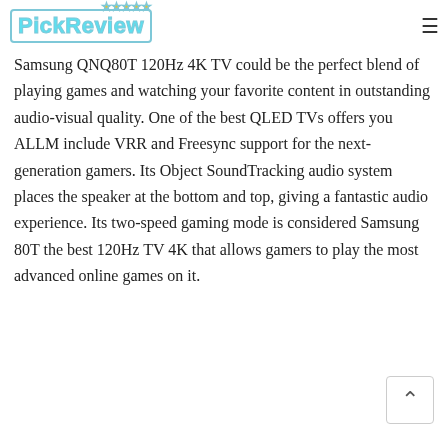PickReview
Samsung QNQ80T 120Hz 4K TV could be the perfect blend of playing games and watching your favorite content in outstanding audio-visual quality. One of the best QLED TVs offers you ALLM include VRR and Freesync support for the next-generation gamers. Its Object SoundTracking audio system places the speaker at the bottom and top, giving a fantastic audio experience. Its two-speed gaming mode is considered Samsung 80T the best 120Hz TV 4K that allows gamers to play the most advanced online games on it.